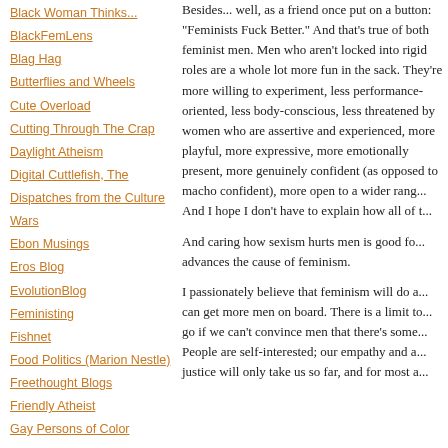Black Woman Thinks...
BlackFemLens
Blag Hag
Butterflies and Wheels
Cute Overload
Cutting Through The Crap
Daylight Atheism
Digital Cuttlefish, The
Dispatches from the Culture Wars
Ebon Musings
Eros Blog
EvolutionBlog
Feministing
Fishnet
Food Politics (Marion Nestle)
Freethought Blogs
Friendly Atheist
Gay Persons of Color
Besides... well, as a friend once put on a button: "Feminists Fuck Better." And that's true of both feminist men. Men who aren't locked into rigid roles are a whole lot more fun in the sack. They're more willing to experiment, less performance-oriented, less body-conscious, less threatened by women who are assertive and experienced, more playful, more expressive, more emotionally present, more genuinely confident (as opposed to macho confident), more open to a wider range of activities. And I hope I don't have to explain how all of this...
And caring how sexism hurts men is good fo... advances the cause of feminism.
I passionately believe that feminism will do a... can get more men on board. There is a limit to how far we can go if we can't convince men that there's some... People are self-interested; our empathy and a... justice will only take us so far, and for most a...